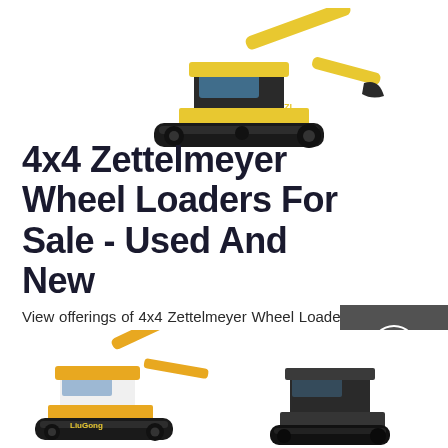[Figure (photo): Yellow and black tracked excavator/crawler machine viewed from the side, top portion visible against white background]
4x4 Zettelmeyer Wheel Loaders For Sale - Used And New
View offerings of 4x4 Zettelmeyer Wheel Loaders on TrucksNL Over 100.000 advertisements online. All major and minor brands TrucksNL since 1998.
[Figure (infographic): Dark grey side panel with Chat (headset icon), Email (envelope icon), and Contact (chat bubble icon) buttons]
[Figure (photo): Get a Quote dark button]
[Figure (photo): Two construction machines at bottom: yellow LiuGong excavator on left, dark machine on right, partially visible]